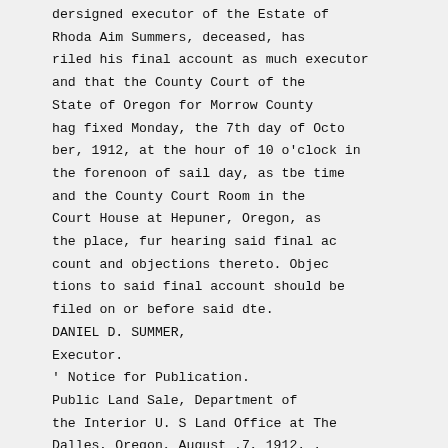dersigned executor of the Estate of Rhoda Aim Summers, deceased, has riled his final account as much executor and that the County Court of the State of Oregon for Morrow County hag fixed Monday, the 7th day of October, 1912, at the hour of 10 o'clock in the forenoon of sail day, as tbe time and the County Court Room in the Court House at Hepuner, Oregon, as the place, fur hearing said final account and objections thereto. Objections to said final account should be filed on or before said dte. DANIEL D. SUMMER, Executor. ' Notice for Publication. Public Land Sale, Department of the Interior U. S Land Office at The Dalles, Oregon, August .7, 1912. . Notice is hereby given that as directed by the Commissioner of the General Land Office, under provisions of Act of Congress approved June 37, 1906 (34 Stats. . 517), pursuant to the